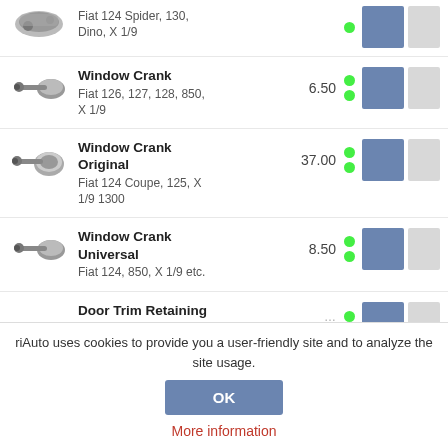Fiat 124 Spider, 130, Dino, X 1/9
Window Crank
Fiat 126, 127, 128, 850, X 1/9 — 6.50
Window Crank Original
Fiat 124 Coupe, 125, X 1/9 1300 — 37.00
Window Crank Universal
Fiat 124, 850, X 1/9 etc. — 8.50
Door Trim Retaining Clip
Fiat 124 Spider 1966-
riAuto uses cookies to provide you a user-friendly site and to analyze the site usage.
OK
More information